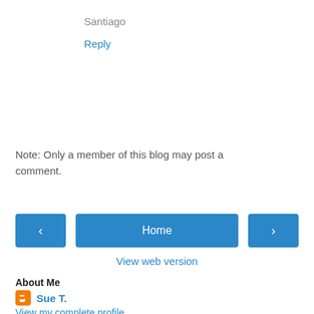Santiago
Reply
Note: Only a member of this blog may post a comment.
< (previous) | Home | > (next)
View web version
About Me
Sue T.
View my complete profile